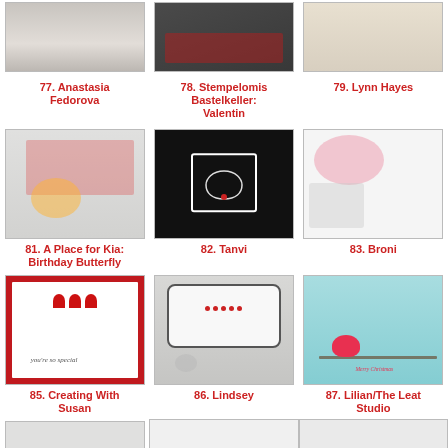[Figure (photo): Partial view of card thumbnail 77 - Anastasia Fedorova]
77. Anastasia Fedorova
[Figure (photo): Partial view of card thumbnail 78 - Stempelomis Bastelkeller: Valentin]
78. Stempelomis Bastelkeller: Valentin
[Figure (photo): Partial view of card thumbnail 79 - Lynn Hayes]
79. Lynn Hayes
[Figure (photo): Card with butterfly and birthday design - 81. A Place for Kia: Birthday Butterfly]
81. A Place for Kia: Birthday Butterfly
[Figure (photo): Black card with heart design - 82. Tanvi]
82. Tanvi
[Figure (photo): Card with cat and pink splashes - 83. Broni]
83. Broni
[Figure (photo): Card with red hearts and girl - 85. Creating With Susan]
85. Creating With Susan
[Figure (photo): Card with speech bubble and Snoopy - 86. Lindsey]
86. Lindsey
[Figure (photo): Card with cardinal bird and Merry Christmas - 87. Lilian/The Leaf Studio]
87. Lilian/The Leaf Studio